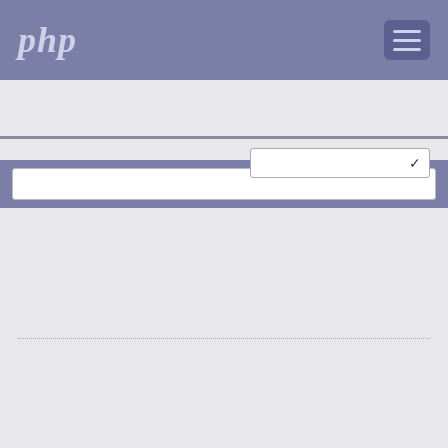php
search input field
version selector dropdown
pcntl_rfork(int $flags, int $signal = 0): int